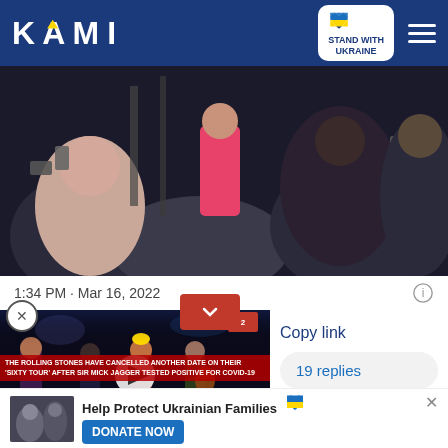KAMI — STAND WITH UKRAINE
[Figure (photo): Crowd of people, some taking photos, with a child in a pink jacket in the center background, dark scene]
1:34 PM · Mar 16, 2022
Copy link
19 replies
[Figure (screenshot): Video player showing The Rolling Stones on stage with red banner text: THE ROLLING STONES HAVE CANCELLED ANOTHER DATE ON THEIR 'SIXTY TOUR' AFTER SIR MICK JAGGER TESTED POSITIVE FOR COVID-19]
Help Protect Ukrainian Families
DONATE NOW